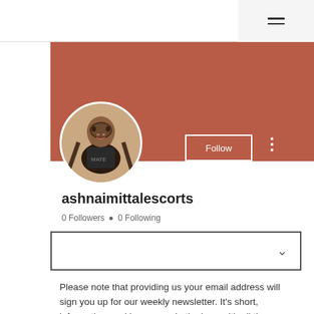[Figure (photo): Circular profile photo of a woman against a white background]
ashnaimittalescorts
0 Followers • 0 Following
Please note that providing us your email address will sign you up for our weekly newsletter. It's short, informative, and keeps you in the loop with all the happenings at the shop.